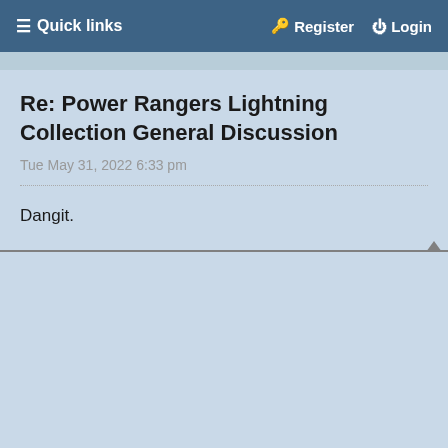≡ Quick links   Register   Login
Re: Power Rangers Lightning Collection General Discussion
Tue May 31, 2022 6:33 pm
Dangit.

Back to eBay... 🙂